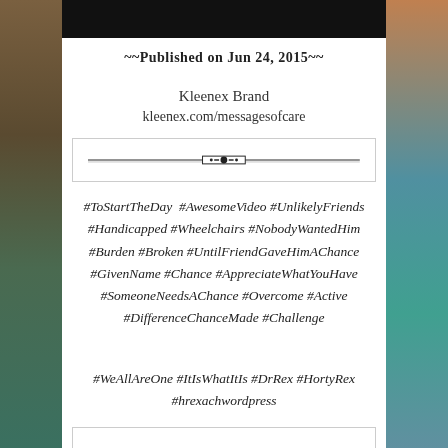[Figure (photo): Black header bar at top of white center panel]
~~Published on Jun 24, 2015~~
Kleenex Brand
kleenex.com/messagesofcare
[Figure (illustration): Decorative horizontal divider line with diamond/dot centerpiece inside a light bordered rectangle]
#ToStartTheDay  #AwesomeVideo #UnlikelyFriends #Handicapped #Wheelchairs #NobodyWantedHim #Burden #Broken #UntilFriendGaveHimAChance #GivenName #Chance #AppreciateWhatYouHave #SomeoneNeedsAChance #Overcome #Active #DifferenceChanceMade #Challenge
#WeAllAreOne #ItIsWhatItIs #DrRex #HortyRex #hrexachwordpress
[Figure (illustration): Partial decorative divider box at bottom]